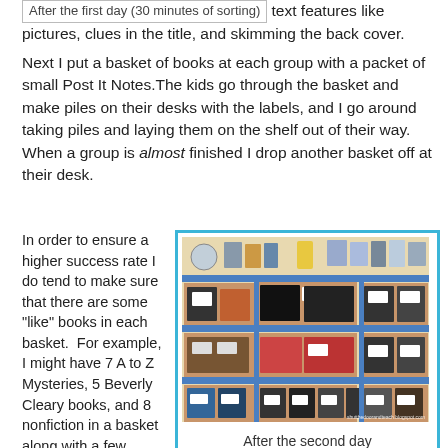After the first day (30 minutes of sorting) text features like pictures, clues in the title, and skimming the back cover.
Next I put a basket of books at each group with a packet of small Post It Notes.The kids go through the basket and make piles on their desks with the labels, and I go around taking piles and laying them on the shelf out of their way.  When a group is almost finished I drop another basket off at their desk.
In order to ensure a higher success rate I do tend to make sure that there are some "like" books in each basket.  For example, I might have 7 A to Z Mysteries, 5 Beverly Cleary books, and 8 nonfiction in a basket along with a few "other."
[Figure (photo): A classroom bookshelf with multiple shelves filled with labeled book baskets/bins organized in sections, after the second day of sorting.]
After the second day